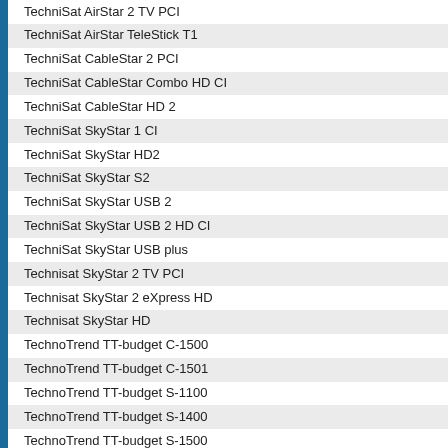TechniSat AirStar 2 TV PCI
TechniSat AirStar TeleStick T1
TechniSat CableStar 2 PCI
TechniSat CableStar Combo HD CI
TechniSat CableStar HD 2
TechniSat SkyStar 1 CI
TechniSat SkyStar HD2
TechniSat SkyStar S2
TechniSat SkyStar USB 2
TechniSat SkyStar USB 2 HD CI
TechniSat SkyStar USB plus
Technisat SkyStar 2 TV PCI
Technisat SkyStar 2 eXpress HD
Technisat SkyStar HD
TechnoTrend TT-budget C-1500
TechnoTrend TT-budget C-1501
TechnoTrend TT-budget S-1100
TechnoTrend TT-budget S-1400
TechnoTrend TT-budget S-1500
TechnoTrend TT-budget S-1501
TechnoTrend TT-budget S2-1600
TechnoTrend TT-budget S2-3200
TechnoTrend TT-connect CT-3650 CI
TechnoTrend TT-connect S-2400
TechnoTrend TT-connect S2-3600